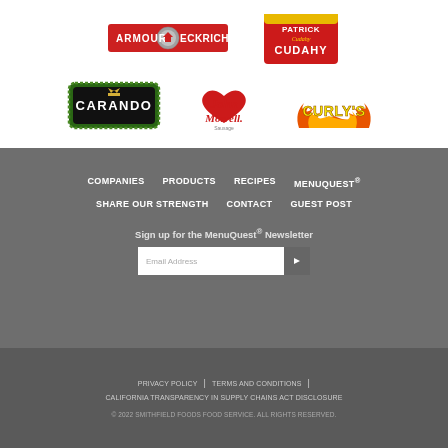[Figure (logo): Armour Eckrich brand logo]
[Figure (logo): Patrick Cudahy brand logo]
[Figure (logo): Carando brand logo]
[Figure (logo): John Morrell brand logo]
[Figure (logo): Curly's brand logo]
COMPANIES   PRODUCTS   RECIPES   MENUQUEST®
SHARE OUR STRENGTH   CONTACT   GUEST POST
Sign up for the MenuQuest® Newsletter
Email Address
PRIVACY POLICY | TERMS AND CONDITIONS | CALIFORNIA TRANSPARENCY IN SUPPLY CHAINS ACT DISCLOSURE
© 2022 SMITHFIELD FOODS FOOD SERVICE. ALL RIGHTS RESERVED.